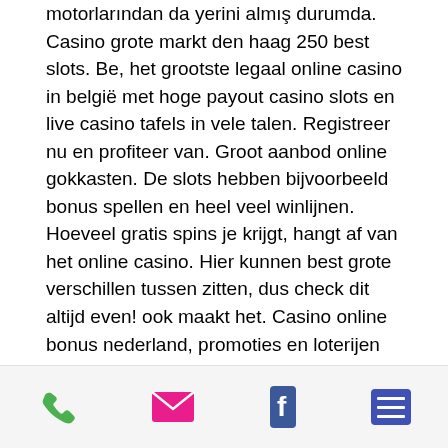motorlarından da yerini almış durumda. Casino grote markt den haag 250 best slots. Be, het grootste legaal online casino in belgië met hoge payout casino slots en live casino tafels in vele talen. Registreer nu en profiteer van. Groot aanbod online gokkasten. De slots hebben bijvoorbeeld bonus spellen en heel veel winlijnen. Hoeveel gratis spins je krijgt, hangt af van het online casino. Hier kunnen best grote verschillen tussen zitten, dus check dit altijd even! ook maakt het. Casino online bonus nederland, promoties en loterijen zijn niet alleen een eenvoudige marketing zet, maar een grote kans om kapitaal te vermenigvuldigen. Hoeveel spellen een landgebonden casino kan aanbieden, is afhankelijk van een groot aantal factoren zoals de beschikbare ruimte en personeel.
[Figure (other): Footer bar with four icons: phone (green), envelope/mail (pink/red), Facebook (blue), and a list/menu icon (purple/blue)]